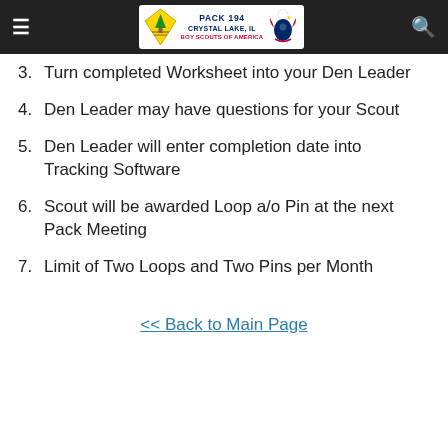Pack 194 Crystal Lake, IL Boy Scouts of America
3. Turn completed Worksheet into your Den Leader
4. Den Leader may have questions for your Scout
5. Den Leader will enter completion date into Tracking Software
6. Scout will be awarded Loop a/o Pin at the next Pack Meeting
7. Limit of Two Loops and Two Pins per Month
<< Back to Main Page